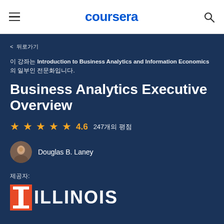coursera
< 뒤로가기
이 강좌는 Introduction to Business Analytics and Information Economics 의 일부인 전문화입니다.
Business Analytics Executive Overview
★★★★☆ 4.6  247개의 평점
Douglas B. Laney
제공자:
[Figure (logo): University of Illinois logo with orange I and ILLINOIS text in white]